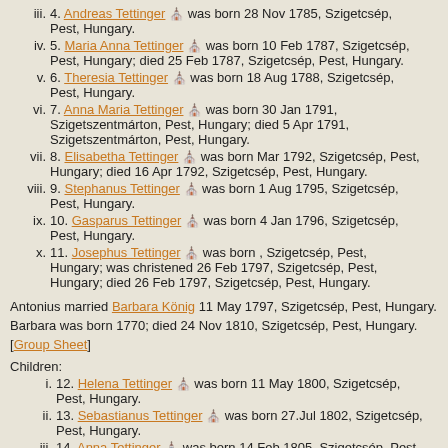iii. 4. Andreas Tettinger ⛪ was born 28 Nov 1785, Szigetcsép, Pest, Hungary.
iv. 5. Maria Anna Tettinger ⛪ was born 10 Feb 1787, Szigetcsép, Pest, Hungary; died 25 Feb 1787, Szigetcsép, Pest, Hungary.
v. 6. Theresia Tettinger ⛪ was born 18 Aug 1788, Szigetcsép, Pest, Hungary.
vi. 7. Anna Maria Tettinger ⛪ was born 30 Jan 1791, Szigetszentmárton, Pest, Hungary; died 5 Apr 1791, Szigetszentmárton, Pest, Hungary.
vii. 8. Elisabetha Tettinger ⛪ was born Mar 1792, Szigetcsép, Pest, Hungary; died 16 Apr 1792, Szigetcsép, Pest, Hungary.
viii. 9. Stephanus Tettinger ⛪ was born 1 Aug 1795, Szigetcsép, Pest, Hungary.
ix. 10. Gasparus Tettinger ⛪ was born 4 Jan 1796, Szigetcsép, Pest, Hungary.
x. 11. Josephus Tettinger ⛪ was born , Szigetcsép, Pest, Hungary; was christened 26 Feb 1797, Szigetcsép, Pest, Hungary; died 26 Feb 1797, Szigetcsép, Pest, Hungary.
Antonius married Barbara König 11 May 1797, Szigetcsép, Pest, Hungary. Barbara was born 1770; died 24 Nov 1810, Szigetcsép, Pest, Hungary. [Group Sheet]
Children:
i. 12. Helena Tettinger ⛪ was born 11 May 1800, Szigetcsép, Pest, Hungary.
ii. 13. Sebastianus Tettinger ⛪ was born 27.Jul 1802, Szigetcsép, Pest, Hungary.
iii. 14. Anna Tettinger ⛪ was born 14 Feb 1805, Szigetcsép, Pest, Hungary; died 1 Oct 1807, Szigetcsép, Pest, Hungary.
iv. 15. Josephus Tettinger ⛪ was born 6 Mar 1808, Szigetcsép, Pest, Hungary; died 6 Mar 1810, Szigetcsép, Pest, Hungary.